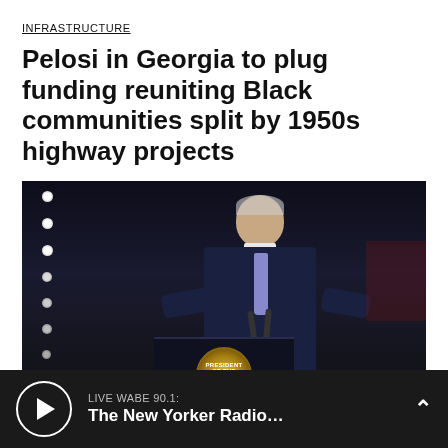INFRASTRUCTURE
Pelosi in Georgia to plug funding reuniting Black communities split by 1950s highway projects
[Figure (photo): A person in a dark suit speaks at a presidential podium with the Presidential Seal, gesturing with both hands. The background is dark with white dot lights visible on the left side.]
LIVE WABE 90.1: The New Yorker Radio…